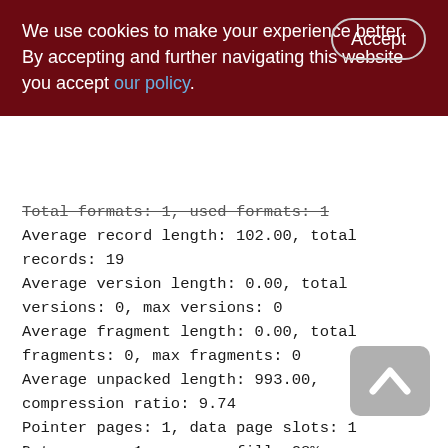We use cookies to make your experience better. By accepting and further navigating this website you accept our policy.
Total formats: 1, used formats: 1
Average record length: 102.00, total records: 19
Average version length: 0.00, total versions: 0, max versions: 0
Average fragment length: 0.00, total fragments: 0, max fragments: 0
Average unpacked length: 993.00, compression ratio: 9.74
Pointer pages: 1, data page slots: 1
Data pages: 1, average fill: 28%
Primary pages: 1, secondary pages: 0, swept pages: 0